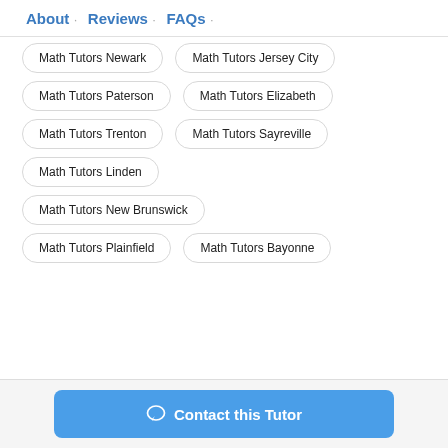About · Reviews · FAQs ·
Math Tutors Newark
Math Tutors Jersey City
Math Tutors Paterson
Math Tutors Elizabeth
Math Tutors Trenton
Math Tutors Sayreville
Math Tutors Linden
Math Tutors New Brunswick
Math Tutors Plainfield
Math Tutors Bayonne
Contact this Tutor